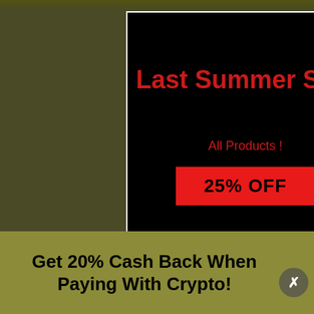[Figure (screenshot): A dark overlay popup modal on a pharmaceutical website showing a Last Summer Sale promotion with 25% OFF all products. Behind the popup is a product page for Anastrozole 1 MG Pills.]
Last Summer Sale
All Products !
25% OFF
ANASTROZOLE 1 MG PILLS
Drug Class: Aromatase Inhibitor
Get 20% Cash Back When Paying With Crypto!